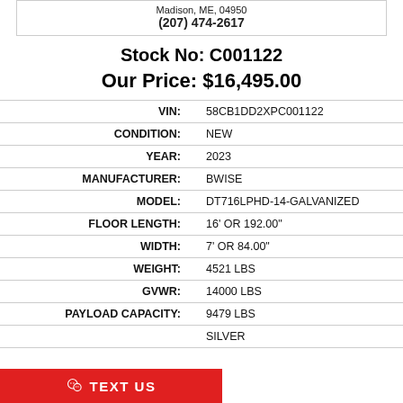Madison, ME, 04950
(207) 474-2617
Stock No: C001122
Our Price: $16,495.00
| Field | Value |
| --- | --- |
| VIN: | 58CB1DD2XPC001122 |
| CONDITION: | NEW |
| YEAR: | 2023 |
| MANUFACTURER: | BWISE |
| MODEL: | DT716LPHD-14-GALVANIZED |
| FLOOR LENGTH: | 16' OR 192.00" |
| WIDTH: | 7' OR 84.00" |
| WEIGHT: | 4521 LBS |
| GVWR: | 14000 LBS |
| PAYLOAD CAPACITY: | 9479 LBS |
|  | SILVER |